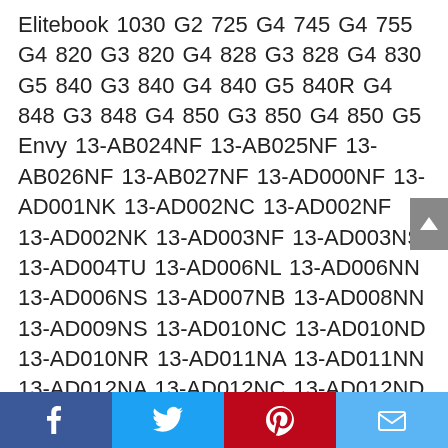Elitebook 1030 G2 725 G4 745 G4 755 G4 820 G3 820 G4 828 G3 828 G4 830 G5 840 G3 840 G4 840 G5 840R G4 848 G3 848 G4 850 G3 850 G4 850 G5 Envy 13-AB024NF 13-AB025NF 13-AB026NF 13-AB027NF 13-AD000NF 13-AD001NK 13-AD002NC 13-AD002NF 13-AD002NK 13-AD003NF 13-AD003NS 13-AD004TU 13-AD006NL 13-AD006NN 13-AD006NS 13-AD007NB 13-AD008NN 13-AD009NS 13-AD010NC 13-AD010ND 13-AD010NR 13-AD011NA 13-AD011NN 13-AD012NA 13-AD012NC 13-AD012ND 13-AD012TU 13-AD013NA 13-AD014NF 13-AD016NC 13-AD016TU 13-AD016TX 13-AD017TX 13-AD018NA 13-
Facebook Twitter Pinterest Email